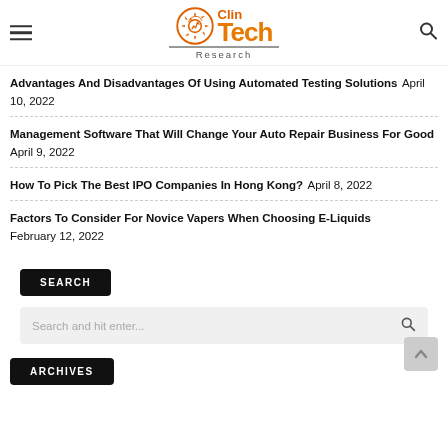ClinTech Research
Advantages And Disadvantages Of Using Automated Testing Solutions April 10, 2022
Management Software That Will Change Your Auto Repair Business For Good April 9, 2022
How To Pick The Best IPO Companies In Hong Kong? April 8, 2022
Factors To Consider For Novice Vapers When Choosing E-Liquids February 12, 2022
SEARCH
Search and hit enter...
ARCHIVES